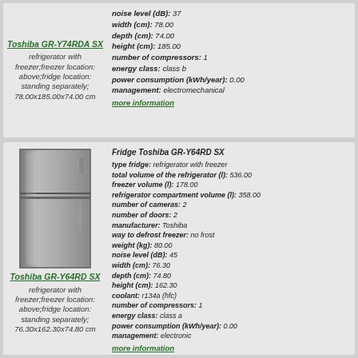Toshiba GR-Y74RDA SX - refrigerator with freezer;freezer location: above;fridge location: standing separately; 78.00x185.00x74.00 cm
noise level (dB): 37, width (cm): 78.00, depth (cm): 74.00, height (cm): 185.00, number of compressors: 1, energy class: class b, power consumption (kWh/year): 0.00, management: electromechanical
more information
[Figure (photo): Photo of Toshiba GR-Y64RD SX refrigerator - silver/stainless steel two-door fridge with freezer on top]
Toshiba GR-Y64RD SX - refrigerator with freezer;freezer location: above;fridge location: standing separately; 76.30x162.30x74.80 cm
Fridge Toshiba GR-Y64RD SX, type fridge: refrigerator with freezer, total volume of the refrigerator (l): 536.00, freezer volume (l): 178.00, refrigerator compartment volume (l): 358.00, number of cameras: 2, number of doors: 2, manufacturer: Toshiba, way to defrost freezer: no frost, weight (kg): 80.00, noise level (dB): 45, width (cm): 76.30, depth (cm): 74.80, height (cm): 162.30, coolant: r134a (hfc), number of compressors: 1, energy class: class a, power consumption (kWh/year): 0.00, management: electronic
more information